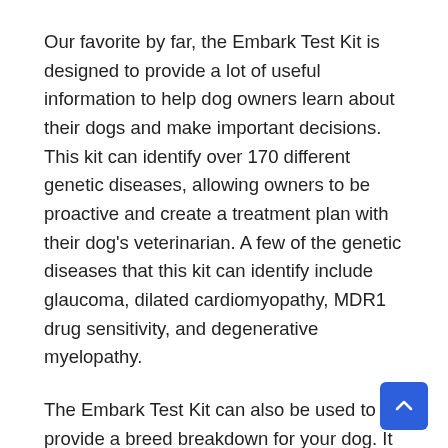Our favorite by far, the Embark Test Kit is designed to provide a lot of useful information to help dog owners learn about their dogs and make important decisions. This kit can identify over 170 different genetic diseases, allowing owners to be proactive and create a treatment plan with their dog's veterinarian. A few of the genetic diseases that this kit can identify include glaucoma, dilated cardiomyopathy, MDR1 drug sensitivity, and degenerative myelopathy.
The Embark Test Kit can also be used to provide a breed breakdown for your dog. It screens for over 250 different dog breeds through use of a genotyping platform which was developed through a partnership with the Cornell University College of